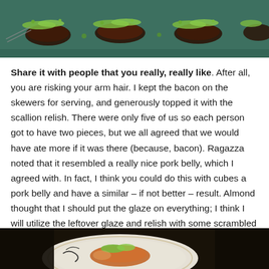[Figure (photo): Top portion of a food photo showing grilled or glazed meat skewers topped with scallion relish on a teal/green serving tray]
Share it with people that you really, really like. After all, you are risking your arm hair. I kept the bacon on the skewers for serving, and generously topped it with the scallion relish. There were only five of us so each person got to have two pieces, but we all agreed that we would have ate more if it was there (because, bacon). Ragazza noted that it resembled a really nice pork belly, which I agreed with. In fact, I think you could do this with cubes a pork belly and have a similar – if not better – result. Almond thought that I should put the glaze on everything; I think I will utilize the leftover glaze and relish with some scrambled eggs or broiled salmon.
[Figure (photo): Bottom portion of a food photo showing a plated dish on a dark background with decorative plate and garnish]